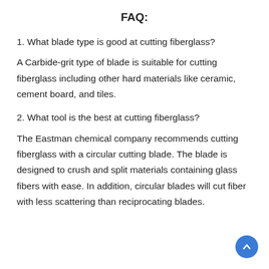FAQ:
1. What blade type is good at cutting fiberglass?
A Carbide-grit type of blade is suitable for cutting fiberglass including other hard materials like ceramic, cement board, and tiles.
2. What tool is the best at cutting fiberglass?
The Eastman chemical company recommends cutting fiberglass with a circular cutting blade. The blade is designed to crush and split materials containing glass fibers with ease. In addition, circular blades will cut fiber with less scattering than reciprocating blades.